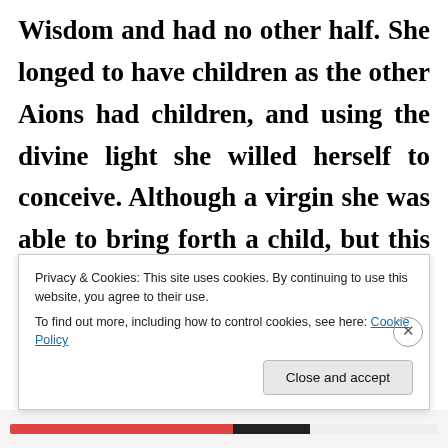Wisdom and had no other half. She longed to have children as the other Aions had children, and using the divine light she willed herself to conceive. Although a virgin she was able to bring forth a child, but this child was blind to
Privacy & Cookies: This site uses cookies. By continuing to use this website, you agree to their use.
To find out more, including how to control cookies, see here: Cookie Policy
Close and accept